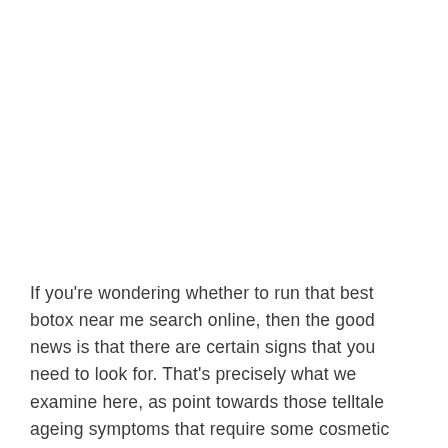If you're wondering whether to run that best botox near me search online, then the good news is that there are certain signs that you need to look for. That's precisely what we examine here, as point towards those telltale ageing symptoms that require some cosmetic attention.